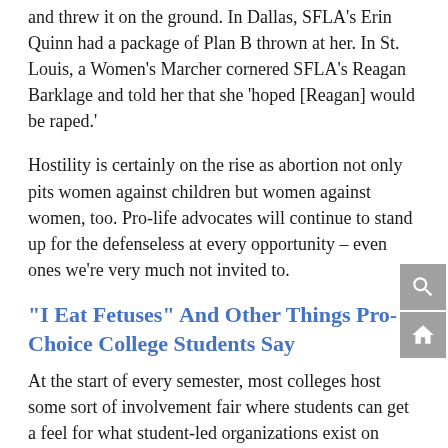and threw it on the ground. In Dallas, SFLA's Erin Quinn had a package of Plan B thrown at her. In St. Louis, a Women's Marcher cornered SFLA's Reagan Barklage and told her that she 'hoped [Reagan] would be raped.'
Hostility is certainly on the rise as abortion not only pits women against children but women against women, too. Pro-life advocates will continue to stand up for the defenseless at every opportunity – even ones we're very much not invited to.
“I Eat Fetuses” And Other Things Pro-Choice College Students Say
At the start of every semester, most colleges host some sort of involvement fair where students can get a feel for what student-led organizations exist on campus. Western Washington Students for Life participated in their fair and braved some encounters with peers that